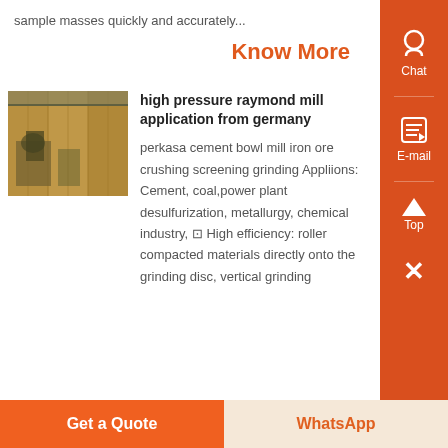sample masses quickly and accurately...
Know More
[Figure (photo): Industrial raymond mill / grinding equipment inside a factory building]
high pressure raymond mill application from germany
perkasa cement bowl mill iron ore crushing screening grinding Appliions: Cement, coal,power plant desulfurization, metallurgy, chemical industry, ⊡ High efficiency: roller compacted materials directly onto the grinding disc, vertical grinding
Get a Quote
WhatsApp